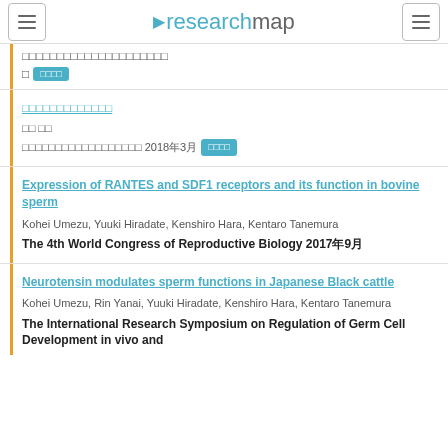researchmap
□ [tag]
□□□□□□□□□□□□□
□□ □□
□□□□□□□□□□□□□□□□□□ 2018年3月 [tag]
Expression of RANTES and SDF1 receptors and its function in bovine sperm
Kohei Umezu, Yuuki Hiradate, Kenshiro Hara, Kentaro Tanemura
The 4th World Congress of Reproductive Biology 2017年9月
Neurotensin modulates sperm functions in Japanese Black cattle
Kohei Umezu, Rin Yanai, Yuuki Hiradate, Kenshiro Hara, Kentaro Tanemura
The International Research Symposium on Regulation of Germ Cell Development in vivo and